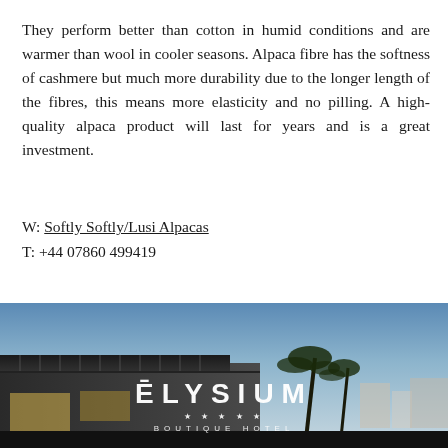They perform better than cotton in humid conditions and are warmer than wool in cooler seasons. Alpaca fibre has the softness of cashmere but much more durability due to the longer length of the fibres, this means more elasticity and no pilling. A high-quality alpaca product will last for years and is a great investment.
W: Softly Softly/Lusi Alpacas
T: +44 07860 499419
Instagram
Facebook
[Figure (photo): Hotel exterior at dusk with ELYSIUM BOUTIQUE HOTEL logo in white text and five stars, building with overhanging roof, palm trees, twilight blue sky]